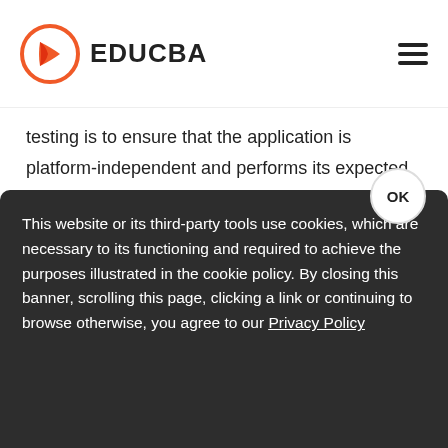EDUCBA
testing is to ensure that the application is platform-independent and performs its expected functions across various environments.
Importance of Testing Methodologies
Software testing methodologies are important to figure out the bugs and software failures that were made while building it. The aim of performing tests at the...
This website or its third-party tools use cookies, which are necessary to its functioning and required to achieve the purposes illustrated in the cookie policy. By closing this banner, scrolling this page, clicking a link or continuing to browse otherwise, you agree to our Privacy Policy
reliability of the company is maintained in the